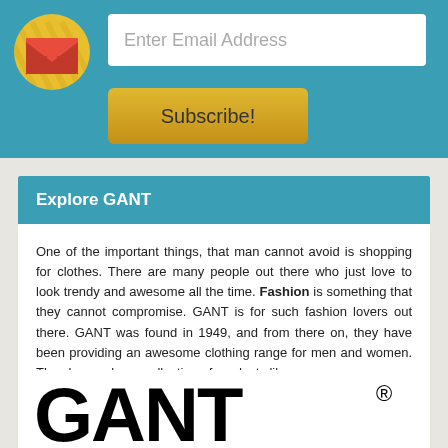[Figure (illustration): Email subscription widget: teal background with yellow email icon, white email input field showing placeholder 'Enter Email Address', and a golden 'Subscribe!' button.]
Explore GANT
One of the important things, that man cannot avoid is shopping for clothes. There are many people out there who just love to look trendy and awesome all the time. Fashion is something that they cannot compromise. GANT is for such fashion lovers out there. GANT was found in 1949, and from there on, they have been providing an awesome clothing range for men and women. They have a large collection of products like:
[Figure (logo): GANT brand logo in large bold black uppercase letters with registered trademark symbol]